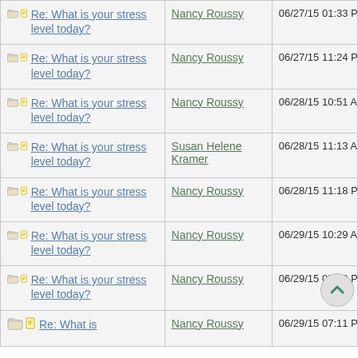| Topic | Author | Date |
| --- | --- | --- |
| Re: What is your stress level today? | Nancy Roussy | 06/27/15 01:33 PM |
| Re: What is your stress level today? | Nancy Roussy | 06/27/15 11:24 PM |
| Re: What is your stress level today? | Nancy Roussy | 06/28/15 10:51 AM |
| Re: What is your stress level today? | Susan Helene Kramer | 06/28/15 11:13 AM |
| Re: What is your stress level today? | Nancy Roussy | 06/28/15 11:18 PM |
| Re: What is your stress level today? | Nancy Roussy | 06/29/15 10:29 AM |
| Re: What is your stress level today? | Nancy Roussy | 06/29/15 05:53 PM |
| Re: What is... | Nancy Roussy | 06/29/15 07:11 PM |